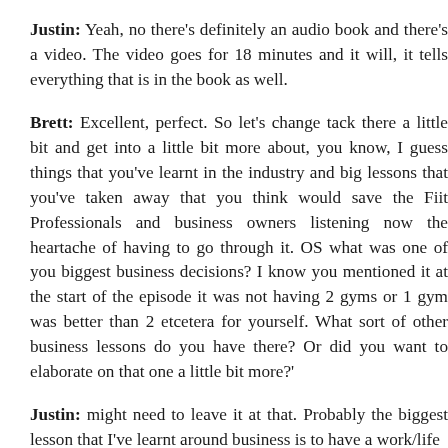Justin: Yeah, no there's definitely an audio book and there's a video. The video goes for 18 minutes and it will, it tells everything that is in the book as well.
Brett: Excellent, perfect. So let's change tack there a little bit and get into a little bit more about, you know, I guess things that you've learnt in the industry and big lessons that you've taken away that you think would save the Fiit Professionals and business owners listening now the heartache of having to go through it. OS what was one of you biggest business decisions? I know you mentioned it at the start of the episode it was not having 2 gyms or 1 gym was better than 2 etcetera for yourself. What sort of other business lessons do you have there? Or did you want to elaborate on that one a little bit more?'
Justin: might need to leave it at that. Probably the biggest lesson that I've learnt around business is to have a work/life